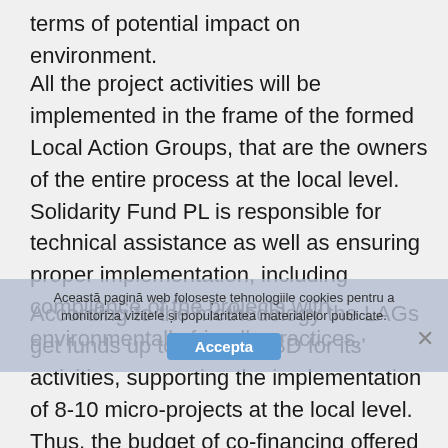terms of potential impact on environment.
All the project activities will be implemented in the frame of the formed Local Action Groups, that are the owners of the entire process at the local level. Solidarity Fund PL is responsible for technical assistance as well as ensuring proper implementation, including compliance of the projects with environmentally friendly practices.
According to the methodology the LAGs get funds up to 20.000 USD for its' activities, supporting the implementation of 8-10 micro-projects at the local level. Thus, the budget of co-financing offered by LAG to the project implementers is approx. 1.000 –